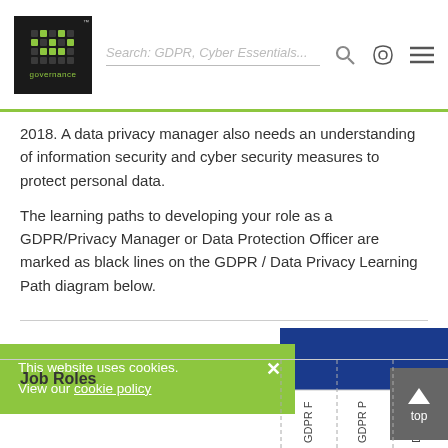IT Governance — Search: GDPR, Cyber Essentials...
2018. A data privacy manager also needs an understanding of information security and cyber security measures to protect personal data.
The learning paths to developing your role as a GDPR/Privacy Manager or Data Protection Officer are marked as black lines on the GDPR / Data Privacy Learning Path diagram below.
[Figure (infographic): Partial view of GDPR / Data Privacy Learning Path diagram showing a blue rectangle header and rotated column labels: GDPR F, GDPR P, DPO]
This website uses cookies. View our cookie policy
Job Roles